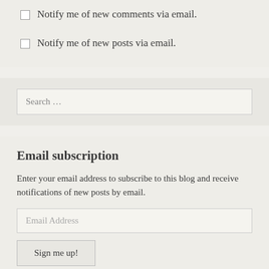Notify me of new comments via email.
Notify me of new posts via email.
Search …
Email subscription
Enter your email address to subscribe to this blog and receive notifications of new posts by email.
Email Address
Sign me up!
Join 1,458 other followers